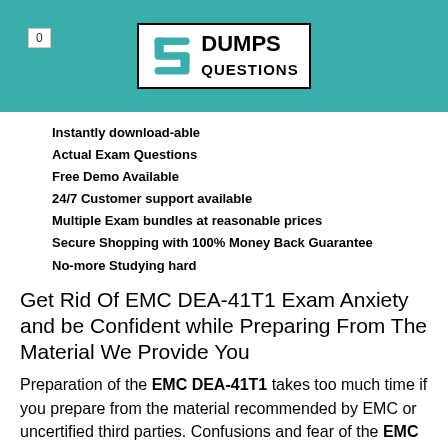0
[Figure (logo): DumpsQuestions logo with stylized S icon and bold DUMPS QUESTIONS text]
Instantly download-able
Actual Exam Questions
Free Demo Available
24/7 Customer support available
Multiple Exam bundles at reasonable prices
Secure Shopping with 100% Money Back Guarantee
No-more Studying hard
Get Rid Of EMC DEA-41T1 Exam Anxiety and be Confident while Preparing From The Material We Provide You
Preparation of the EMC DEA-41T1 takes too much time if you prepare from the material recommended by EMC or uncertified third parties. Confusions and fear of the EMC DEA-41T1 exam questions devastate your preparation. You can protect yourself from the fear, confusion, failure, loss of time and money by using Dumps Questions EMC